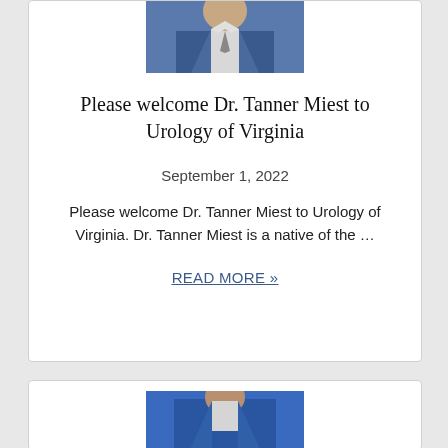[Figure (photo): Partial photo of Dr. Tanner Miest in a blue suit, cropped at the top]
Please welcome Dr. Tanner Miest to Urology of Virginia
September 1, 2022
Please welcome Dr. Tanner Miest to Urology of Virginia. Dr. Tanner Miest is a native of the ...
READ MORE »
[Figure (photo): Partial photo of another doctor in a blue jacket, cropped at the bottom of the page]